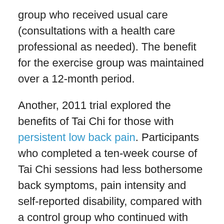group who received usual care (consultations with a health care professional as needed). The benefit for the exercise group was maintained over a 12-month period.
Another, 2011 trial explored the benefits of Tai Chi for those with persistent low back pain. Participants who completed a ten-week course of Tai Chi sessions had less bothersome back symptoms, pain intensity and self-reported disability, compared with a control group who continued with their normal medical care, fitness or health regimen.
Chronic pain is linked with chemical and structural changes at all levels of the nervous system. These include the level of neurotransmitter changes that alter pain modulation, and sensitisation of the nerves involved in transmitting pain signals. Incoming pain signals can be